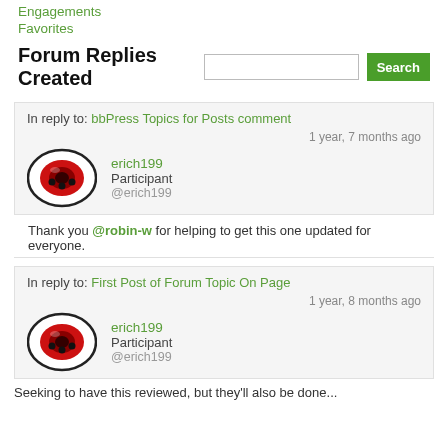Engagements
Favorites
Forum Replies Created
In reply to: bbPress Topics for Posts comment
1 year, 7 months ago
erich199
Participant
@erich199
Thank you @robin-w for helping to get this one updated for everyone.
In reply to: First Post of Forum Topic On Page
1 year, 8 months ago
erich199
Participant
@erich199
Seeking to have this reviewed, but they'll also be done...